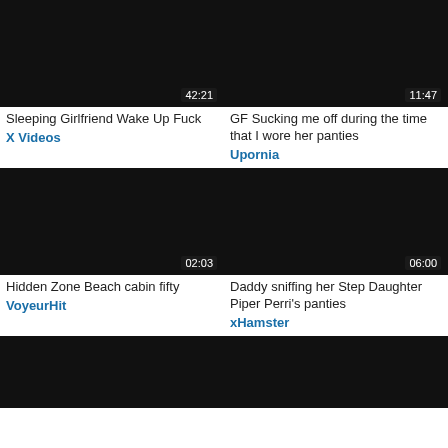[Figure (screenshot): Black video thumbnail with duration 42:21]
Sleeping Girlfriend Wake Up Fuck
X Videos
[Figure (screenshot): Black video thumbnail with duration 11:47]
GF Sucking me off during the time that I wore her panties
Upornia
[Figure (screenshot): Black video thumbnail with duration 02:03]
Hidden Zone Beach cabin fifty
VoyeurHit
[Figure (screenshot): Black video thumbnail with duration 06:00]
Daddy sniffing her Step Daughter Piper Perri's panties
xHamster
[Figure (screenshot): Black video thumbnail, bottom partial, no duration visible]
[Figure (screenshot): Black video thumbnail, bottom partial, no duration visible]